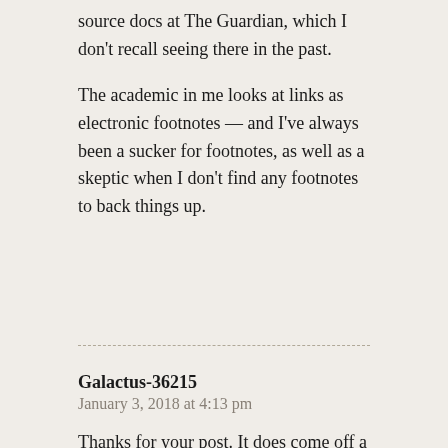source docs at The Guardian, which I don't recall seeing there in the past.
The academic in me looks at links as electronic footnotes — and I've always been a sucker for footnotes, as well as a skeptic when I don't find any footnotes to back things up.
Galactus-36215
January 3, 2018 at 4:13 pm
Thanks for your post. It does come off a little